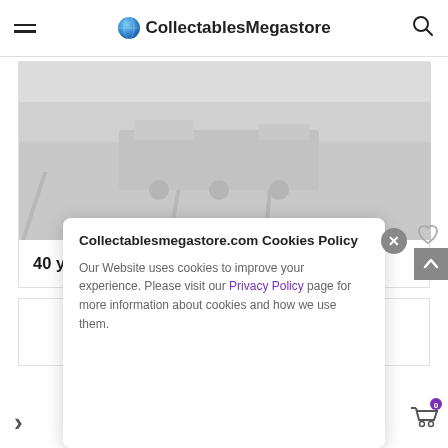CollectablesMegastore
[Figure (photo): Black and white photograph of a train on railway tracks, with trees in the background. The image appears to be a vintage or faded photograph.]
40 years of Settle to Carlisle Railway Photos
Collectablesmegastore.com Cookies Policy

Our Website uses cookies to improve your experience. Please visit our Privacy Policy page for more information about cookies and how we use them.